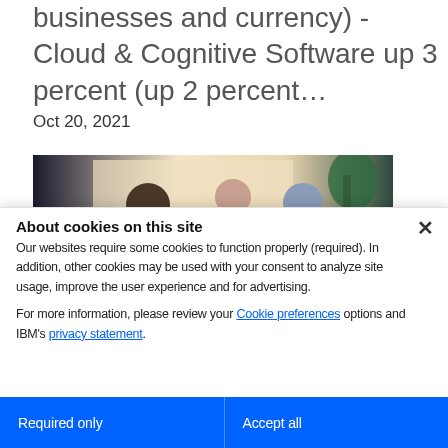businesses and currency) - Cloud & Cognitive Software up 3 percent (up 2 percent...
Oct 20, 2021
[Figure (photo): Three people sitting together at a table, appearing to have a conversation in a bright room with plants in the background.]
About cookies on this site
Our websites require some cookies to function properly (required). In addition, other cookies may be used with your consent to analyze site usage, improve the user experience and for advertising.
For more information, please review your Cookie preferences options and IBM's privacy statement.